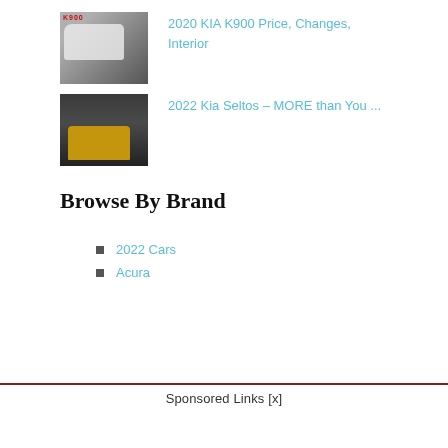[Figure (photo): White Kia K900 luxury sedan against red K900 logo background]
2020 KIA K900 Price, Changes, Interior
[Figure (photo): Yellow Kia Seltos SUV parked in front of dark industrial building]
2022 Kia Seltos – MORE than You ...
Browse By Brand
2022 Cars
Acura
Sponsored Links [x]